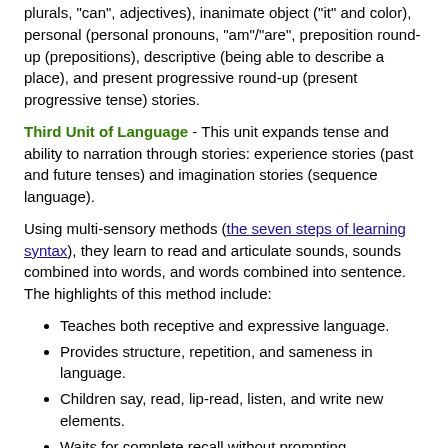plurals, "can", adjectives), inanimate object ("it" and color), personal (personal pronouns, "am"/"are", preposition round-up (prepositions), descriptive (being able to describe a place), and present progressive round-up (present progressive tense) stories.
Third Unit of Language - This unit expands tense and ability to narration through stories: experience stories (past and future tenses) and imagination stories (sequence language).
Using multi-sensory methods (the seven steps of learning syntax), they learn to read and articulate sounds, sounds combined into words, and words combined into sentence. The highlights of this method include:
Teaches both receptive and expressive language.
Provides structure, repetition, and sameness in language.
Children say, read, lip-read, listen, and write new elements.
Waits for complete recall without prompting.